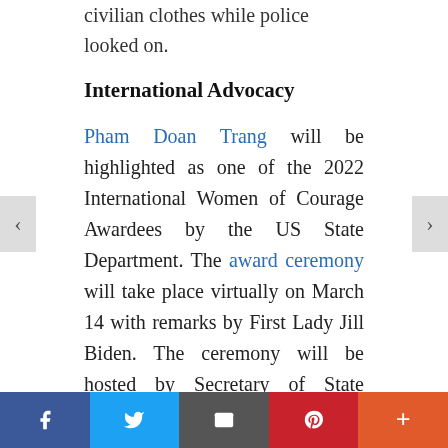civilian clothes while police looked on.
International Advocacy
Pham Doan Trang will be highlighted as one of the 2022 International Women of Courage Awardees by the US State Department. The award ceremony will take place virtually on March 14 with remarks by First Lady Jill Biden. The ceremony will be hosted by Secretary of State Antony Blinken.
Read this statement by Michelle Bachelet, from the Annual Report and Oral Update by the High Commissioner for Human Rights on the activities of her Office and recent human rights developments.